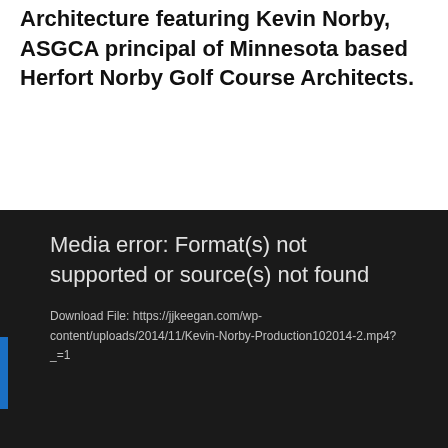Architecture featuring Kevin Norby, ASGCA principal of Minnesota based Herfort Norby Golf Course Architects.
[Figure (screenshot): Media player error panel with dark background showing error message: 'Media error: Format(s) not supported or source(s) not found' and a download file link to https://jjkeegan.com/wp-content/uploads/2014/11/Kevin-Norby-Production102014-2.mp4?_=1]